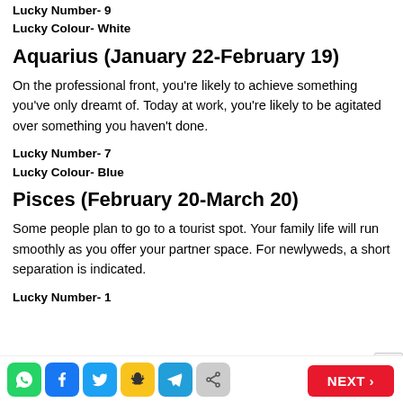Lucky Number- 9
Lucky Colour- White
Aquarius (January 22-February 19)
On the professional front, you're likely to achieve something you've only dreamt of. Today at work, you're likely to be agitated over something you haven't done.
Lucky Number- 7
Lucky Colour- Blue
Pisces (February 20-March 20)
Some people plan to go to a tourist spot. Your family life will run smoothly as you offer your partner space. For newlyweds, a short separation is indicated.
Lucky Number- 1